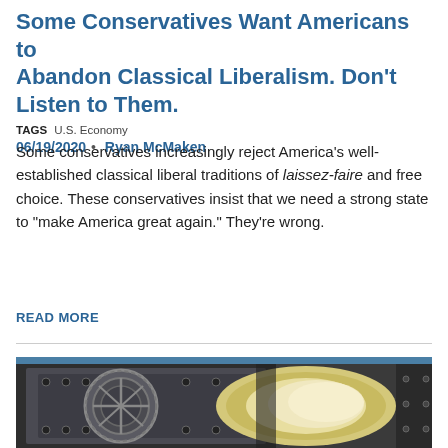Some Conservatives Want Americans to Abandon Classical Liberalism. Don't Listen to Them.
TAGS  U.S. Economy
06/19/2020 • Ryan McMaken
Some conservatives increasingly reject America's well-established classical liberal traditions of laissez-faire and free choice. These conservatives insist that we need a strong state to "make America great again." They're wrong.
READ MORE
[Figure (photo): Photo of a large metal bank vault door partially open, showing heavy gears and bolts on the door, with light visible through the opening.]